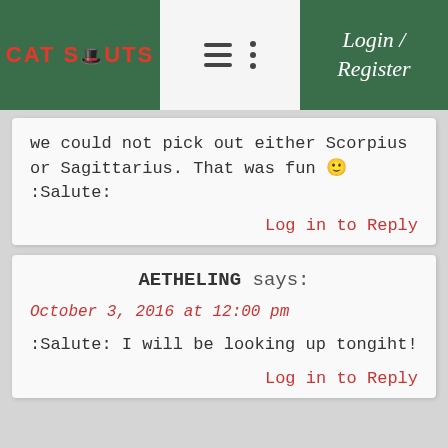CAT SCOUTS | Login / Register
we could not pick out either Scorpius or Sagittarius. That was fun 🙂 :Salute:
Log in to Reply
AETHELING says:
October 3, 2016 at 12:00 pm
:Salute: I will be looking up tongiht!
Log in to Reply